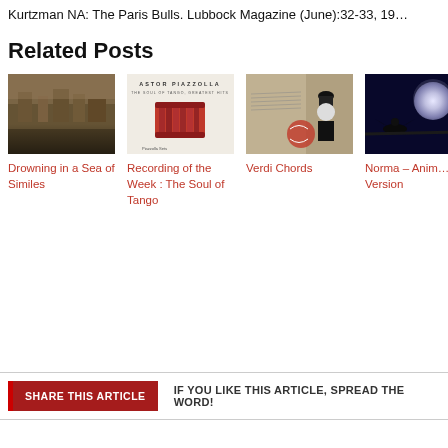Kurtzman NA: The Paris Bulls. Lubbock Magazine (June):32-33, 19…
Related Posts
[Figure (photo): Album cover or painting of a city at dusk/night with warm brownish tones]
Drowning in a Sea of Similes
[Figure (photo): Album cover: Astor Piazzolla – The Soul of Tango, Greatest Hits, with red accordion graphic on white background]
Recording of the Week : The Soul of Tango
[Figure (photo): Photo related to Verdi, showing sheet music and a figure in top hat]
Verdi Chords
[Figure (photo): Dark night scene with glowing moon and silhouetted bird]
Norma – Animated Version
SHARE THIS ARTICLE   IF YOU LIKE THIS ARTICLE, SPREAD THE WORD!